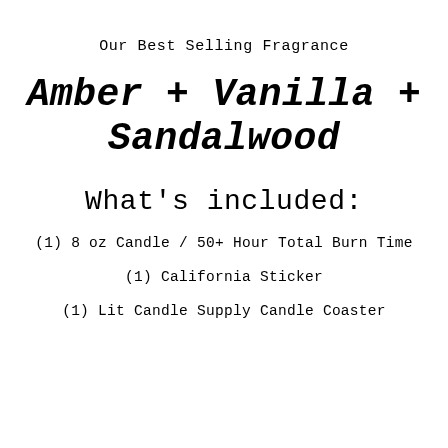Our Best Selling Fragrance
Amber + Vanilla + Sandalwood
What's included:
(1) 8 oz Candle / 50+ Hour Total Burn Time
(1) California Sticker
(1) Lit Candle Supply Candle Coaster